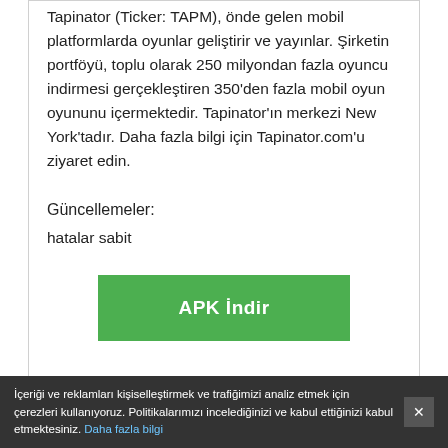Tapinator (Ticker: TAPM), önde gelen mobil platformlarda oyunlar geliştirir ve yayınlar. Şirketin portföyü, toplu olarak 250 milyondan fazla oyuncu indirmesi gerçekleştiren 350'den fazla mobil oyun oyununu içermektedir. Tapinator'ın merkezi New York'tadır. Daha fazla bilgi için Tapinator.com'u ziyaret edin.
Güncellemeler:
hatalar sabit
[Figure (other): Green APK İndir (APK Download) button]
İçeriği ve reklamları kişiselleştirmek ve trafiğimizi analiz etmek için çerezleri kullanıyoruz. Politikalarımızı incelediğinizi ve kabul ettiğinizi kabul etmektesiniz. Daha fazla bilgi